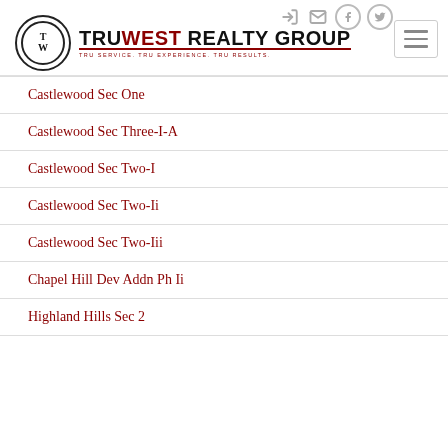[Figure (logo): TruWest Realty Group logo with circular TW emblem and tagline]
Castlewood Sec One
Castlewood Sec Three-I-A
Castlewood Sec Two-I
Castlewood Sec Two-Ii
Castlewood Sec Two-Iii
Chapel Hill Dev Addn Ph Ii
Highland Hills Sec 2